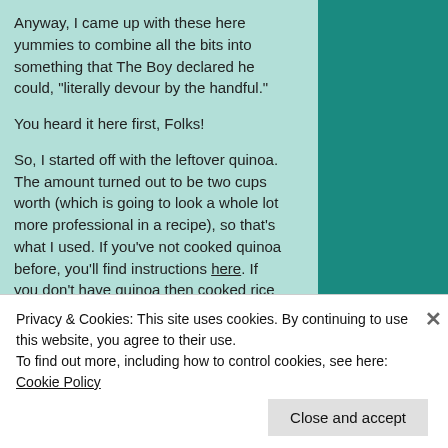Anyway, I came up with these here yummies to combine all the bits into something that The Boy declared he could, “literally devour by the handful.”
You heard it here first, Folks!
So, I started off with the leftover quinoa. The amount turned out to be two cups worth (which is going to look a whole lot more professional in a recipe), so that’s what I used. If you’ve not cooked quinoa before, you’ll find instructions here. If you don’t have quinoa then cooked rice of any colour or description would also work.
I popped it into a medium sized bowl
Privacy & Cookies: This site uses cookies. By continuing to use this website, you agree to their use.
To find out more, including how to control cookies, see here: Cookie Policy
Close and accept